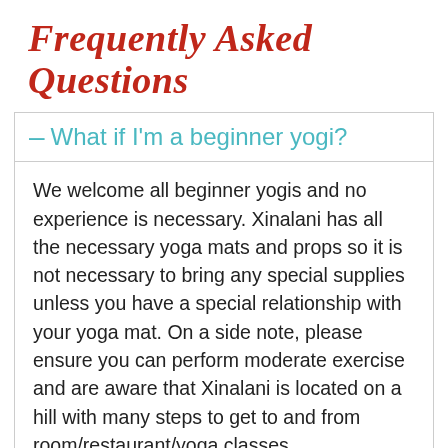Frequently Asked Questions
– What if I'm a beginner yogi?
We welcome all beginner yogis and no experience is necessary. Xinalani has all the necessary yoga mats and props so it is not necessary to bring any special supplies unless you have a special relationship with your yoga mat. On a side note, please ensure you can perform moderate exercise and are aware that Xinalani is located on a hill with many steps to get to and from room/restaurant/yoga classes.